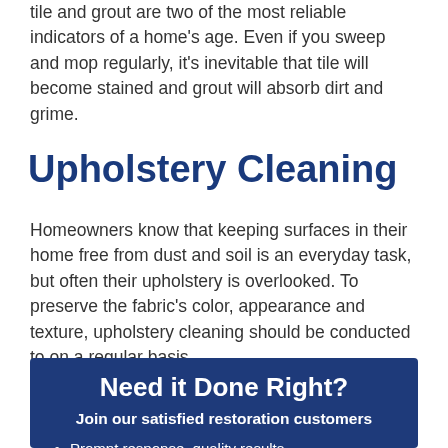tile and grout are two of the most reliable indicators of a home's age. Even if you sweep and mop regularly, it's inevitable that tile will become stained and grout will absorb dirt and grime.
Upholstery Cleaning
Homeowners know that keeping surfaces in their home free from dust and soil is an everyday task, but often their upholstery is overlooked. To preserve the fabric's color, appearance and texture, upholstery cleaning should be conducted to on a regular basis.
Need it Done Right?
Join our satisfied restoration customers
Prompt response, quality results
24/7 damage repair service
Certified service professionals